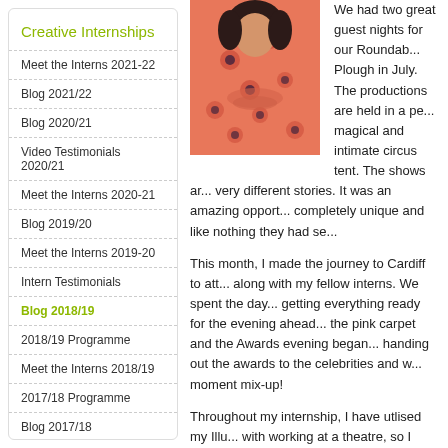Creative Internships
Meet the Interns 2021-22
Blog 2021/22
Blog 2020/21
Video Testimonials 2020/21
Meet the Interns 2020-21
Blog 2019/20
Meet the Interns 2019-20
Intern Testimonials
Blog 2018/19
2018/19 Programme
Meet the Interns 2018/19
2017/18 Programme
Blog 2017/18
Meet the Interns 2017/18
Prosper
Arts Jobs
[Figure (photo): A woman wearing a pink/orange floral dress, photo cropped to show torso and head area against white background]
We had two great guest nights for our Roundab... Plough in July. The productions are held in a pe... magical and intimate circus tent. The shows ar... very different stories. It was an amazing opport... completely unique and like nothing they had se...
This month, I made the journey to Cardiff to att... along with my fellow interns. We spent the day... getting everything ready for the evening ahead... the pink carpet and the Awards evening began... handing out the awards to the celebrities and w... moment mix-up!
Throughout my internship, I have utlised my Illu... with working at a theatre, so I jumped at the ch... lots of my illustration work.
I am looking forward to the Family Arts Festival... outcome from the MoneySuperMarket's suppor...